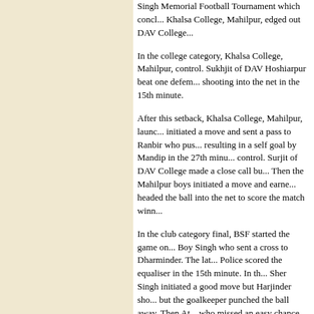Singh Memorial Football Tournament which concl... Khalsa College, Mahilpur, edged out DAV College...
In the college category, Khalsa College, Mahilpur, control. Sukhjit of DAV Hoshiarpur beat one defem... shooting into the net in the 15th minute.
After this setback, Khalsa College, Mahilpur, launc... initiated a move and sent a pass to Ranbir who pus... resulting in a self goal by Mandip in the 27th minu... control. Surjit of DAV College made a close call bu... Then the Mahilpur boys initiated a move and earne... headed the ball into the net to score the match winn...
In the club category final, BSF started the game on... Boy Singh who sent a cross to Dharminder. The lat... Police scored the equaliser in the 15th minute. In th... Sher Singh initiated a good move but Harjinder sho... but the goalkeeper punched the ball away. Then At... who missed an easy chance. Eventually, both team... Punjab Police earned the right to keep the trophy f...
Bhiwani ru
Tribune
Chandigarh, January 19